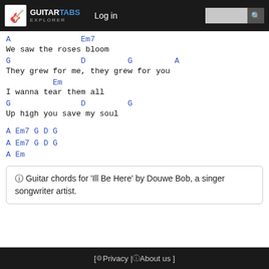GUITARTABS EXPLORER | Log in | Search
A               Em7
We saw the roses bloom
G               D         G         A
They grew for me, they grew for you
Em
I wanna tear them all
G               D         G
Up high you save my soul
A Em7 G D G
A Em7 G D G
A Em
ℹ Guitar chords for 'Ill Be Here' by Douwe Bob, a singer songwriter artist.
[ Privacy | About us ]